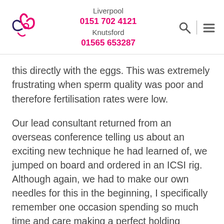Liverpool 0151 702 4121 Knutsford 01565 653287
this directly with the eggs. This was extremely frustrating when sperm quality was poor and therefore fertilisation rates were low.
Our lead consultant returned from an overseas conference telling us about an exciting new technique he had learned of, we jumped on board and ordered in an ICSI rig. Although again, we had to make our own needles for this in the beginning, I specifically remember one occasion spending so much time and care making a perfect holding pipette, then just as I